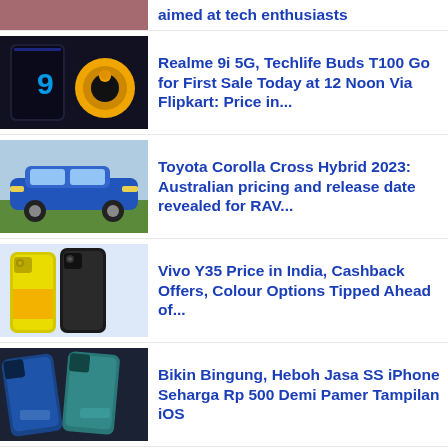aimed at tech enthusiasts
Realme 9i 5G, Techlife Buds T100 Go for First Sale Today at 12 Noon Via Flipkart: Price in...
Toyota Corolla Cross Hybrid 2023: Australian pricing and release date revealed for RAV...
Vivo Y35 Price in India, Cashback Offers, Colour Options Tipped Ahead of...
Bikin Bingung, Heboh Jasa SS iPhone Seharga Rp 500 Demi Pamer Tampilan iOS
"Top Gun: Maverick" hadir di CATCHPLAY+ dan lebih...